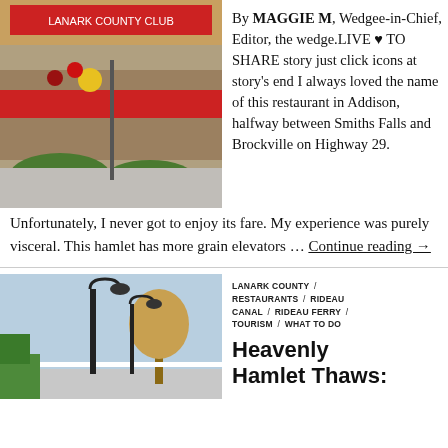[Figure (photo): Exterior of a restaurant building in Addison with flags and signage visible]
By MAGGIE M, Wedgee-in-Chief, Editor, the wedge.LIVE ♥ TO SHARE story just click icons at story's end I always loved the name of this restaurant in Addison, halfway between Smiths Falls and Brockville on Highway 29. Unfortunately, I never got to enjoy its fare. My experience was purely visceral. This hamlet has more grain elevators … Continue reading →
[Figure (photo): Street scene with lamp posts and a tree in what appears to be a small town in winter/early spring]
LANARK COUNTY / RESTAURANTS / RIDEAU CANAL / RIDEAU FERRY / TOURISM / WHAT TO DO
Heavenly Hamlet Thaws: